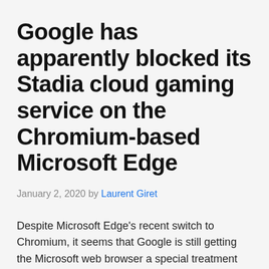Google has apparently blocked its Stadia cloud gaming service on the Chromium-based Microsoft Edge
January 2, 2020 by Laurent Giret
Despite Microsoft Edge's recent switch to Chromium, it seems that Google is still getting the Microsoft web browser a special treatment regarding some of its own services. Indeed. The